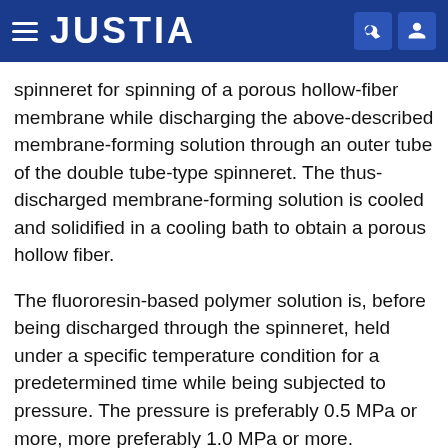JUSTIA
spinneret for spinning of a porous hollow-fiber membrane while discharging the above-described membrane-forming solution through an outer tube of the double tube-type spinneret. The thus-discharged membrane-forming solution is cooled and solidified in a cooling bath to obtain a porous hollow fiber.
The fluororesin-based polymer solution is, before being discharged through the spinneret, held under a specific temperature condition for a predetermined time while being subjected to pressure. The pressure is preferably 0.5 MPa or more, more preferably 1.0 MPa or more.
The temperature T of the polymer solution preferably satisfies Tc+35° C.≤T≤Tc+60° C., more preferably satisfies Tc+40° C.≤T≤Tc+55° C. Tc is the crystallization temperature of the fluororesin-based polymer solution. The time for which the polymer solution is held under